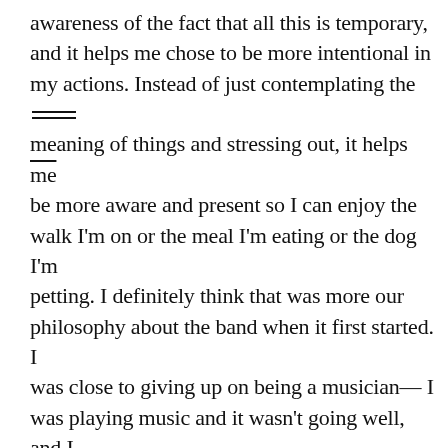awareness of the fact that all this is temporary, and it helps me chose to be more intentional in my actions. Instead of just contemplating the meaning of things and stressing out, it helps me be more aware and present so I can enjoy the walk I'm on or the meal I'm eating or the dog I'm petting. I definitely think that was more our philosophy about the band when it first started. I was close to giving up on being a musician— I was playing music and it wasn't going well, and I thought well if we're going to do something unsuccessful, I'd rather at least be doing what I want and enjoying, rather than just plugging away with the goal of being successful one day. Now, the band really has just become our job. I